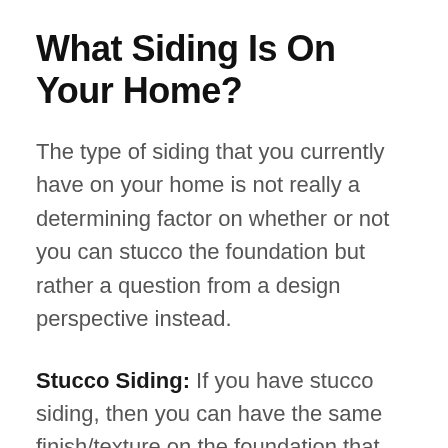What Siding Is On Your Home?
The type of siding that you currently have on your home is not really a determining factor on whether or not you can stucco the foundation but rather a question from a design perspective instead.
Stucco Siding: If you have stucco siding, then you can have the same finish/texture on the foundation that you have on your walls or you can go with a completely